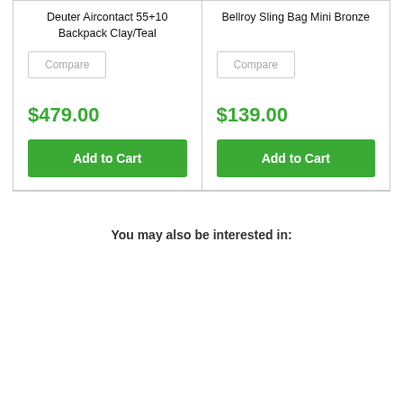Deuter Aircontact 55+10 Backpack Clay/Teal
Compare
Bellroy Sling Bag Mini Bronze
Compare
$479.00
Add to Cart
$139.00
Add to Cart
You may also be interested in: